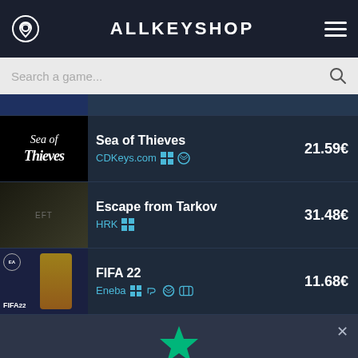ALLKEYSHOP
Search a game...
Sea of Thieves — CDKeys.com — 21.59€
Escape from Tarkov — HRK — 31.48€
FIFA 22 — Eneba — 11.68€
We use cookies to ensure that we give you the best experience on our website. If you continue to use this site we will assume that you are happy with it. Read more
Ok
No
Help